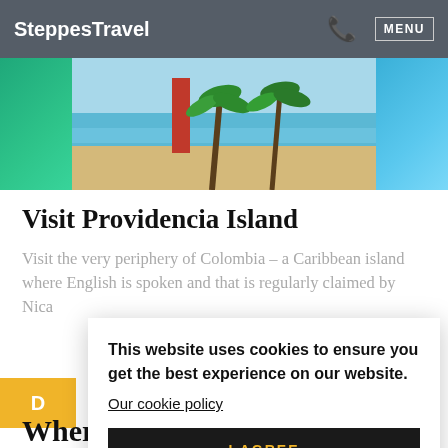SteppesTravel  MENU
[Figure (photo): Beach scene with palm trees, sandy shore and blue Caribbean water. Thumbnail images on left (teal/green) and right (blue water) flank the central beach photo.]
Visit Providencia Island
Visit the very periphery of Colombia – a Caribbean island where English is spoken and that is regularly claimed by Nica
This website uses cookies to ensure you get the best experience on our website.
Our cookie policy
I AGREE
Where to stay